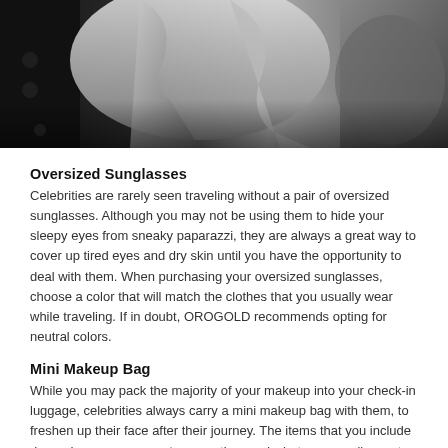[Figure (photo): Black and white photo of a celebrity, cropped showing upper body, with arm raised near face]
Oversized Sunglasses
Celebrities are rarely seen traveling without a pair of oversized sunglasses. Although you may not be using them to hide your sleepy eyes from sneaky paparazzi, they are always a great way to cover up tired eyes and dry skin until you have the opportunity to deal with them. When purchasing your oversized sunglasses, choose a color that will match the clothes that you usually wear while traveling. If in doubt, OROGOLD recommends opting for neutral colors.
Mini Makeup Bag
While you may pack the majority of your makeup into your check-in luggage, celebrities always carry a mini makeup bag with them, to freshen up their face after their journey. The items that you include depend on your own makeup routine, and what you usually use to